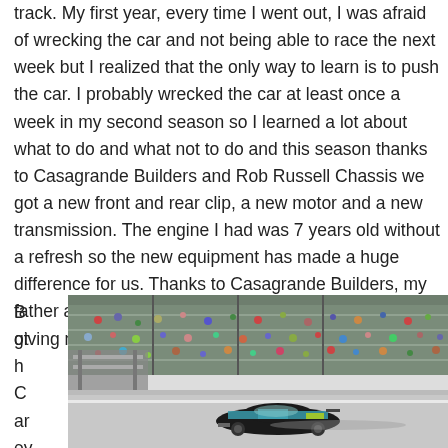track.  My first year, every time I went out, I was afraid of wrecking the car and not being able to race the next week but I realized that the only way to learn is to push the car.  I probably wrecked the car at least once a week in my second season so I learned a lot about what to do and what not to do and this season thanks to Casagrande Builders and Rob Russell Chassis we got a new front and rear clip, a new motor and a new transmission.  The engine I had was 7 years old without a refresh so the new equipment has made a huge difference for us.  Thanks to Casagrande Builders, my father and grandfather for their support, and RRC for giving me the best chassis I could ever have."
Both Carey
[Figure (photo): Race track photo showing a stock car racing on a track with grandstands full of spectators in the background. A dark-colored racing car with teal/blue livery is visible on the track.]